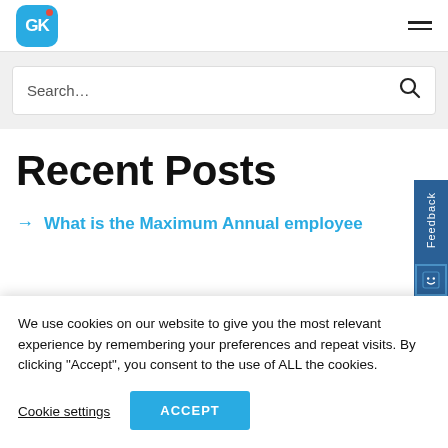[Figure (logo): GK logo — blue rounded square with white GK letters and red dot, plus hamburger menu icon on right]
Search…
Recent Posts
What is the Maximum Annual employee
We use cookies on our website to give you the most relevant experience by remembering your preferences and repeat visits. By clicking "Accept", you consent to the use of ALL the cookies.
Cookie settings
ACCEPT